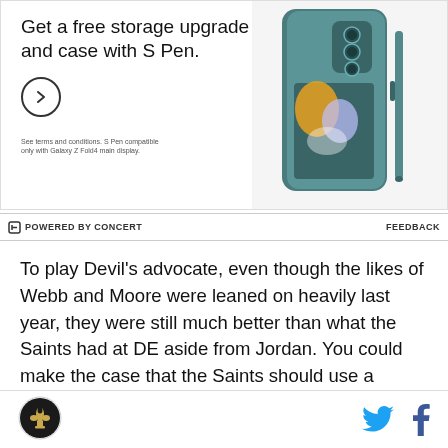[Figure (photo): Advertisement banner for Samsung Galaxy Z Fold4 with text 'Get a free storage upgrade and case with S Pen.' and an image of the teal-colored phone with S Pen. Fine print: 'See terms and conditions. S Pen compatible only with Galaxy Z Fold4 main display.']
POWERED BY CONCERT    FEEDBACK
To play Devil's advocate, even though the likes of Webb and Moore were leaned on heavily last year, they were still much better than what the Saints had at DE aside from Jordan. You could make the case that the Saints should use a similar strategy here, but focus on the D-line and linebackers. I wouldn't complain, and
Saints logo | Twitter icon | Facebook icon